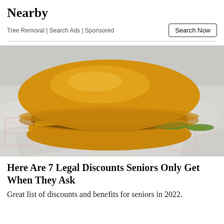Nearby
Tree Removal | Search Ads | Sponsored
[Figure (photo): A fast-food cheeseburger with a browned bun, beef patty, melted yellow cheese, and pickles, resting on white paper wrapper with red printed logo markings.]
Here Are 7 Legal Discounts Seniors Only Get When They Ask
Great list of discounts and benefits for seniors in 2022.